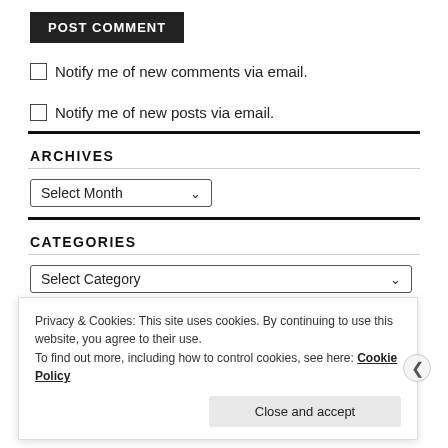POST COMMENT
Notify me of new comments via email.
Notify me of new posts via email.
ARCHIVES
Select Month
CATEGORIES
Select Category
Privacy & Cookies: This site uses cookies. By continuing to use this website, you agree to their use.
To find out more, including how to control cookies, see here: Cookie Policy
Close and accept